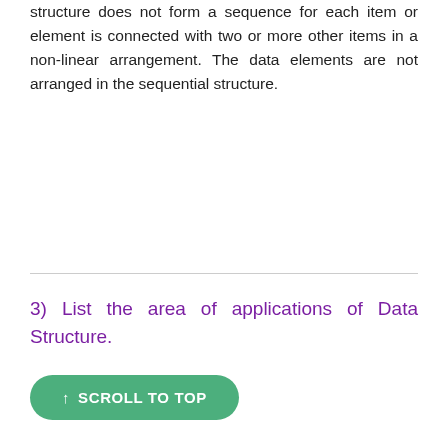structure does not form a sequence for each item or element is connected with two or more other items in a non-linear arrangement. The data elements are not arranged in the sequential structure.
3) List the area of applications of Data Structure.
↑ SCROLL TO TOP